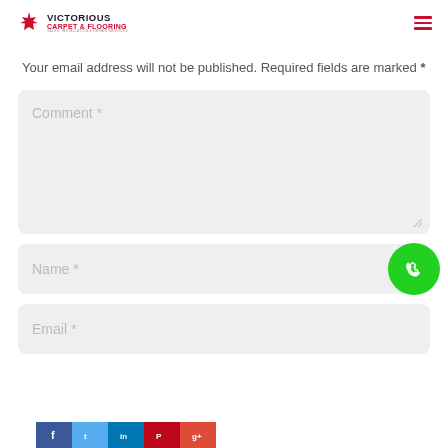[Figure (logo): Victorious Carpet & Flooring logo with maple leaf icon]
Your email address will not be published. Required fields are marked *
[Figure (screenshot): Comment textarea form field with placeholder text 'Comment *']
[Figure (screenshot): Name input field with placeholder 'Name *' and green phone button overlay]
[Figure (screenshot): Email input field with placeholder 'Email *']
[Figure (infographic): Social media share buttons bar at bottom: Facebook blue, Twitter light blue, LinkedIn blue, Pinterest red, Google+ orange-red]